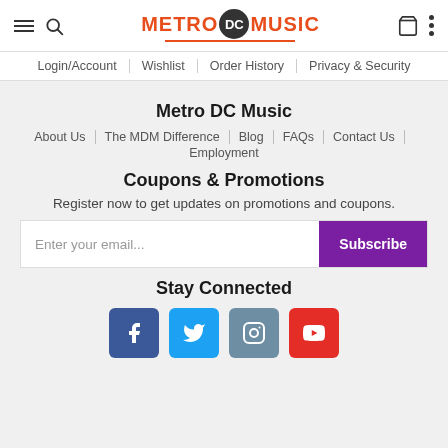Metro DC Music — Navigation header with hamburger menu, search, logo, cart, and more icons
Login/Account | Wishlist | Order History | Privacy & Security
Metro DC Music
About Us | The MDM Difference | Blog | FAQs | Contact Us | Employment
Coupons & Promotions
Register now to get updates on promotions and coupons.
Enter your email...  [Subscribe]
Stay Connected
[Figure (infographic): Four social media icon buttons: Facebook (blue), Twitter (light blue), Instagram (teal-grey), YouTube (red)]